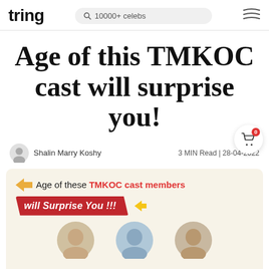tring | 10000+ celebs
Age of this TMKOC cast will surprise you!
Shalin Marry Koshy
3 MIN Read | 28-04-2022
[Figure (infographic): Promotional infographic with cream background showing text 'Age of these TMKOC cast members will Surprise You !!!' with cast member photos below]
Age of these TMKOC cast members will Surprise You !!!